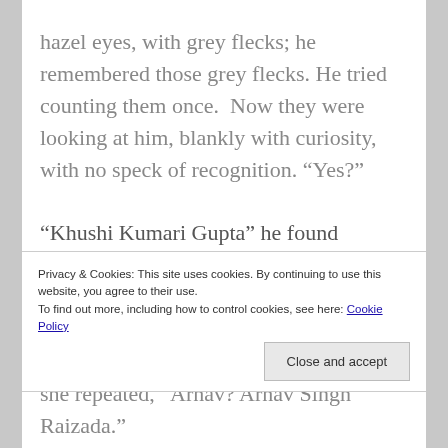hazel eyes, with grey flecks; he remembered those grey flecks. He tried counting them once.  Now they were looking at him, blankly with curiosity, with no speck of recognition. “Yes?”
“Khushi Kumari Gupta” he found himself saying locking her eyes with his.
Privacy & Cookies: This site uses cookies. By continuing to use this website, you agree to their use.
To find out more, including how to control cookies, see here: Cookie Policy
Close and accept
she repeated, “Arnav? Arnav Singh Raizada.”